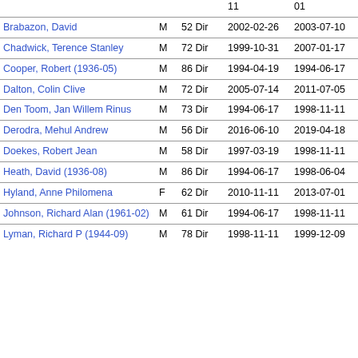| Name | Gender | Age/Role | Date From | Date To |
| --- | --- | --- | --- | --- |
|  |  |  | 11 | 01 |
| Brabazon, David | M | 52 Dir | 2002-02-26 | 2003-07-10 |
| Chadwick, Terence Stanley | M | 72 Dir | 1999-10-31 | 2007-01-17 |
| Cooper, Robert (1936-05) | M | 86 Dir | 1994-04-19 | 1994-06-17 |
| Dalton, Colin Clive | M | 72 Dir | 2005-07-14 | 2011-07-05 |
| Den Toom, Jan Willem Rinus | M | 73 Dir | 1994-06-17 | 1998-11-11 |
| Derodra, Mehul Andrew | M | 56 Dir | 2016-06-10 | 2019-04-18 |
| Doekes, Robert Jean | M | 58 Dir | 1997-03-19 | 1998-11-11 |
| Heath, David (1936-08) | M | 86 Dir | 1994-06-17 | 1998-06-04 |
| Hyland, Anne Philomena | F | 62 Dir | 2010-11-11 | 2013-07-01 |
| Johnson, Richard Alan (1961-02) | M | 61 Dir | 1994-06-17 | 1998-11-11 |
| Lyman, Richard P (1944-09) | M | 78 Dir | 1998-11-11 | 1999-12-09 |